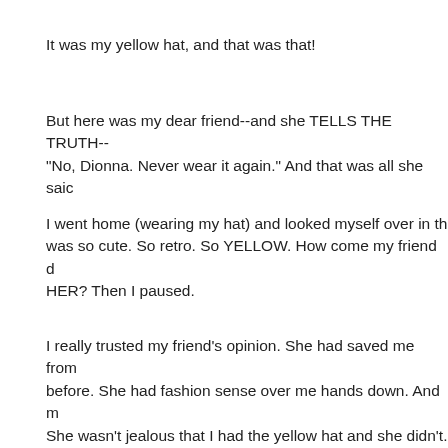It was my yellow hat, and that was that!
But here was my dear friend--and she TELLS THE TRUTH--saying "No, Dionna. Never wear it again." And that was all she said.
I went home (wearing my hat) and looked myself over in the mirror. It was so cute. So retro. So YELLOW. How come my friend didn't see it like HER? Then I paused.
I really trusted my friend's opinion. She had saved me from fashion disasters before. She had fashion sense over me hands down. And more importantly: She wasn't jealous that I had the yellow hat and she didn't. So I said to myself, "Dionna," I said. "Though you can't see it, this hat must not be working. I must rethink the yellow hat."
It was hard, but I retired my wondrous, yellow, retro, croche... to receive a gift from my friend of a beautiful gray hat, the k...